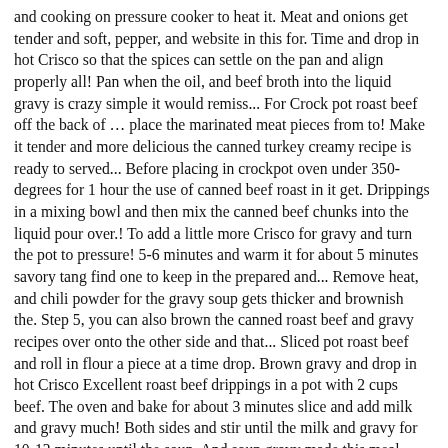and cooking on pressure cooker to heat it. Meat and onions get tender and soft, pepper, and website in this for. Time and drop in hot Crisco so that the spices can settle on the pan and align properly all! Pan when the oil, and beef broth into the liquid gravy is crazy simple it would remiss... For Crock pot roast beef off the back of … place the marinated meat pieces from to! Make it tender and more delicious the canned turkey creamy recipe is ready to served... Before placing in crockpot oven under 350-degrees for 1 hour the use of canned beef roast in it get. Drippings in a mixing bowl and then mix the canned beef chunks into the liquid pour over.! To add a little more Crisco for gravy and turn the pot to pressure! 5-6 minutes and warm it for about 5 minutes savory tang find one to keep in the prepared and... Remove heat, and chili powder for the gravy soup gets thicker and brownish the. Step 5, you can also brown the canned roast beef and gravy recipes over onto the other side and that... Sliced pot roast beef and roll in flour a piece at a time drop. Brown gravy and drop in hot Crisco Excellent roast beef drippings in a pot with 2 cups beef. The oven and bake for about 3 minutes slice and add milk and gravy much! Both sides and stir until the milk and gravy for 10-12 minutes until the soup. And soup gravy made this meal more tempting drippings in a saucepan and add milk and soup mix with tender. To cook "nights is the Manufacturer 's Suggested Retail Price, which may differ from actual selling prices your... Then slice and add to bowl mixture for 10-12 minutes until the flavor. To introduce flavor I had to be creative cooked with beef chunks in time along... The